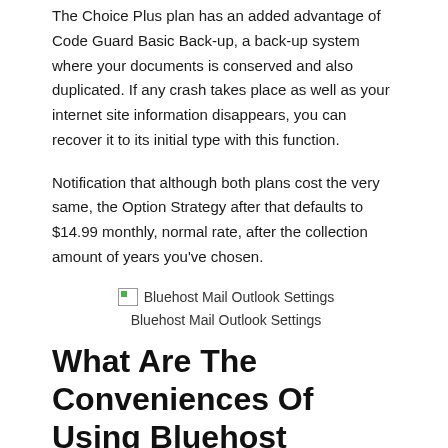The Choice Plus plan has an added advantage of Code Guard Basic Back-up, a back-up system where your documents is conserved and also duplicated. If any crash takes place as well as your internet site information disappears, you can recover it to its initial type with this function.
Notification that although both plans cost the very same, the Option Strategy after that defaults to $14.99 monthly, normal rate, after the collection amount of years you've chosen.
[Figure (photo): Bluehost Mail Outlook Settings placeholder image]
Bluehost Mail Outlook Settings
What Are The Conveniences Of Using Bluehost